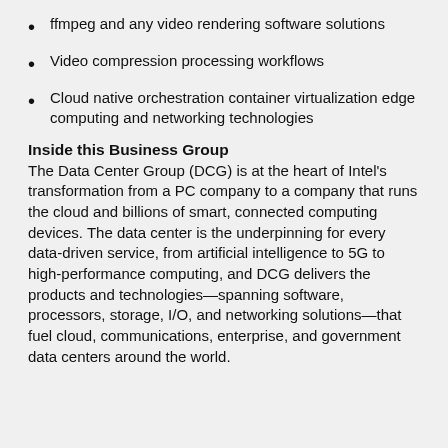ffmpeg and any video rendering software solutions
Video compression processing workflows
Cloud native orchestration container virtualization edge computing and networking technologies
Inside this Business Group
The Data Center Group (DCG) is at the heart of Intel's transformation from a PC company to a company that runs the cloud and billions of smart, connected computing devices. The data center is the underpinning for every data-driven service, from artificial intelligence to 5G to high-performance computing, and DCG delivers the products and technologies—spanning software, processors, storage, I/O, and networking solutions—that fuel cloud, communications, enterprise, and government data centers around the world.